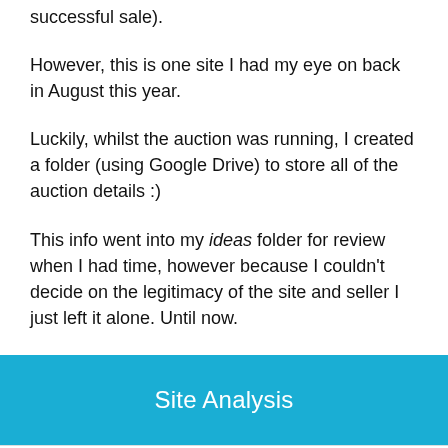successful sale).
However, this is one site I had my eye on back in August this year.
Luckily, whilst the auction was running, I created a folder (using Google Drive) to store all of the auction details :)
This info went into my ideas folder for review when I had time, however because I couldn't decide on the legitimacy of the site and seller I just left it alone. Until now.
Site Analysis
Note – the figures quoted are direct from the